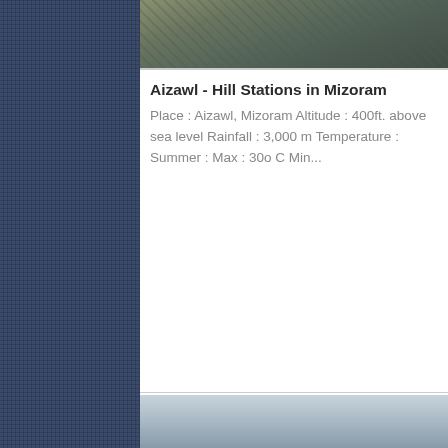[Figure (photo): Aerial/overhead view of Aizawl city with buildings and rooftops visible]
Aizawl - Hill Stations in Mizoram
Place : Aizawl, Mizoram Altitude : 400ft. above sea level Rainfall : 3,000 m Temperature : Summer : Max : 30o C Min...
[Figure (photo): Landscape photo of misty hills/mountains in Mizoram]